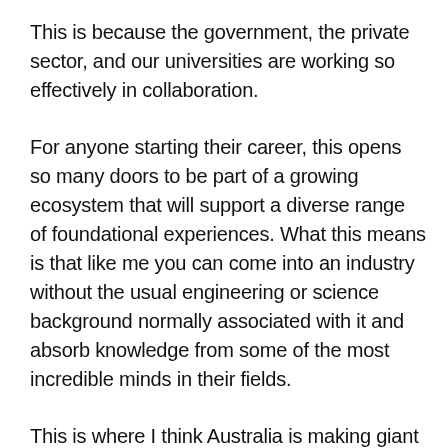This is because the government, the private sector, and our universities are working so effectively in collaboration.
For anyone starting their career, this opens so many doors to be part of a growing ecosystem that will support a diverse range of foundational experiences. What this means is that like me you can come into an industry without the usual engineering or science background normally associated with it and absorb knowledge from some of the most incredible minds in their fields.
This is where I think Australia is making giant leaps in its ability to attract incredible talent from across the world.